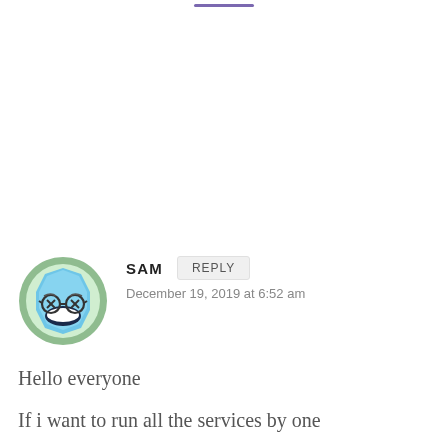[Figure (illustration): A decorative purple horizontal line at the top of the page]
[Figure (illustration): Circular avatar icon with a cartoon octagon-shaped blue robotic/emoji face wearing glasses, on a green circular background]
SAM
REPLY
December 19, 2019 at 6:52 am
Hello everyone
If i want to run all the services by one